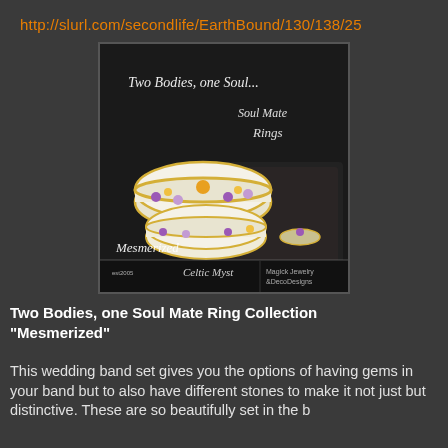http://slurl.com/secondlife/EarthBound/130/138/25
[Figure (photo): Product advertisement image for Celtic Myst jewelry showing 'Two Bodies, one Soul... Soul Mate Rings' - Mesmerized collection. Features wedding band rings with platinum, gold, citrine and lilac diamonds on a dark background. Branding shows Celtic Myst Magick Jewelry & Deco Designs, est 2005.]
Two Bodies, one Soul Mate Ring Collection "Mesmerized"
This wedding band set gives you the options of having gems in your band but to also have different stones to make it not just but distinctive. These are so beautifully set in the b